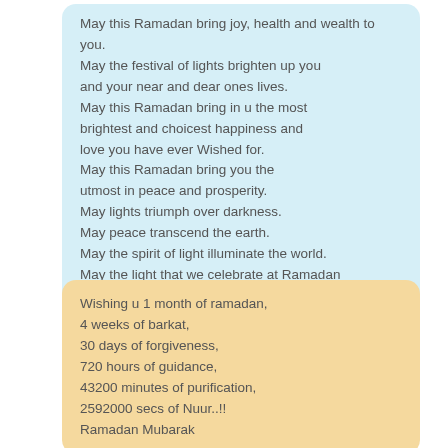May this Ramadan bring joy, health and wealth to you. May the festival of lights brighten up you and your near and dear ones lives. May this Ramadan bring in u the most brightest and choicest happiness and love you have ever Wished for. May this Ramadan bring you the utmost in peace and prosperity. May lights triumph over darkness. May peace transcend the earth. May the spirit of light illuminate the world. May the light that we celebrate at Ramadan show us the way and lead us together on the path of peace and social harmony Wish you a very happy Ramadan Mubarak
Wishing u 1 month of ramadan, 4 weeks of barkat, 30 days of forgiveness, 720 hours of guidance, 43200 minutes of purification, 2592000 secs of Nuur..!! Ramadan Mubarak